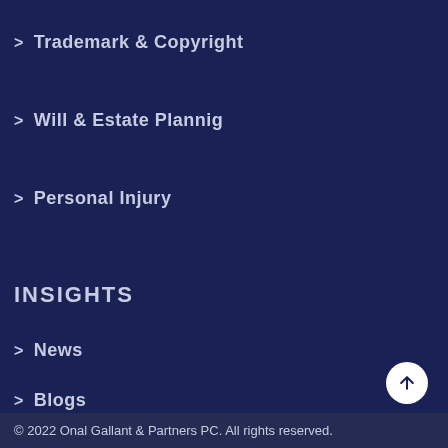> Trademark & Copyright
> Will & Estate Plannig
> Personal Injury
INSIGHTS
> News
> Blogs
> Videos
© 2022 Onal Gallant & Partners PC. All rights reserved.